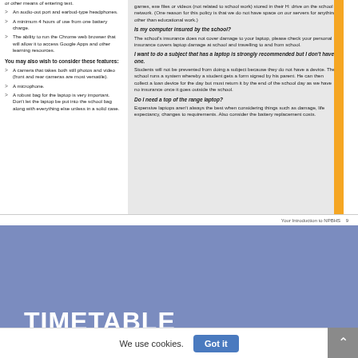or other means of entering text.
An audio-out port and earbud-type headphones.
A minimum 4 hours of use from one battery charge.
The ability to run the Chrome web browser that will allow it to access Google Apps and other learning resources.
You may also wish to consider these features:
A camera that takes both still photos and video (front and rear cameras are most versatile).
A microphone.
A robust bag for the laptop is very important. Don't let the laptop be put into the school bag along with everything else unless in a solid case.
games, exe files or videos (not related to school work) stored in their H: drive on the school network. (One reason for this policy is that we do not have space on our servers for anything other than educational work.)
Is my computer insured by the school?
The school's insurance does not cover damage to your laptop, please check your personal insurance covers laptop damage at school and travelling to and from school.
I want to do a subject that has a laptop is strongly recommended but I don't have one.
Students will not be prevented from doing a subject because they do not have a device. The school runs a system whereby a student gets a form signed by his parent. He can then collect a loan device for the day but must return it by the end of the school day as we have no insurance once it goes outside the school.
Do I need a top of the range laptop?
Expensive laptops aren't always the best when considering things such as damage, life expectancy, changes to requirements. Also consider the battery replacement costs.
Your Introduction to NPBHS   9
TIMETABLE